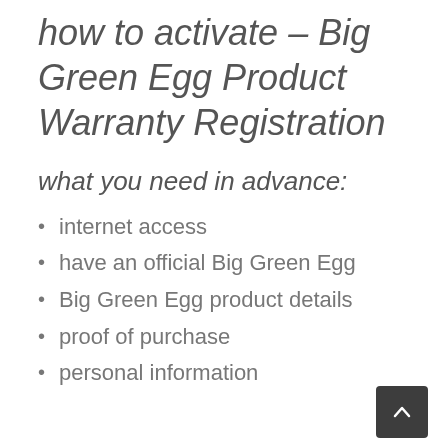how to activate – Big Green Egg Product Warranty Registration
what you need in advance:
internet access
have an official Big Green Egg
Big Green Egg product details
proof of purchase
personal information